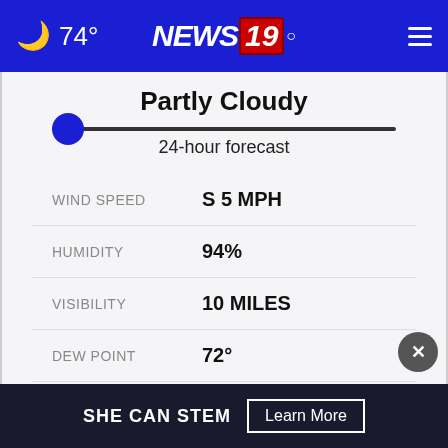74° NEWS 19
Partly Cloudy
24-hour forecast
WIND SPEED   S 5 MPH
HUMIDITY   94%
VISIBILITY   10 MILES
DEW POINT   72°
PRESSURE   29.99"
SHE CAN STEM   Learn More